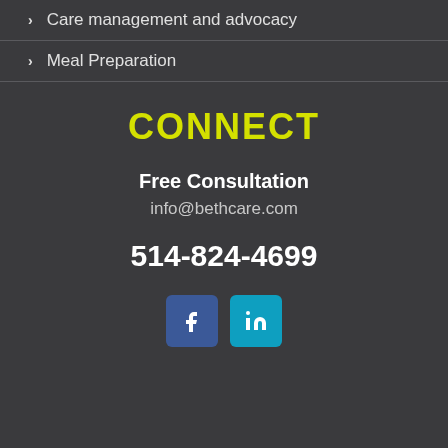Care management and advocacy
Meal Preparation
CONNECT
Free Consultation
info@bethcare.com
514-824-4699
[Figure (illustration): Facebook and LinkedIn social media icons side by side]